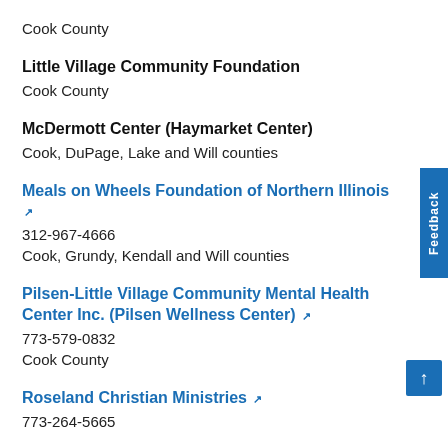Cook County
Little Village Community Foundation
Cook County
McDermott Center (Haymarket Center)
Cook, DuPage, Lake and Will counties
Meals on Wheels Foundation of Northern Illinois
312-967-4666
Cook, Grundy, Kendall and Will counties
Pilsen-Little Village Community Mental Health Center Inc. (Pilsen Wellness Center)
773-579-0832
Cook County
Roseland Christian Ministries
773-264-5665